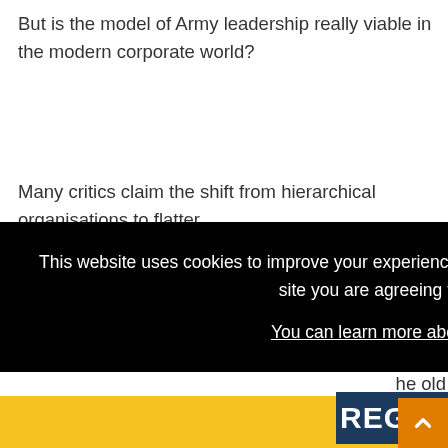But is the model of Army leadership really viable in the modern corporate world?
Many critics claim the shift from hierarchical organisations to flatter
[Figure (screenshot): Cookie consent overlay popup on a website. Black background with white text reading: 'This website uses cookies to improve your experience and for ads personalisation. By continuing to browse this site you are agreeing to our use of these cookies. You can learn more about the cookies we use here.' Below is a yellow OK button bar.]